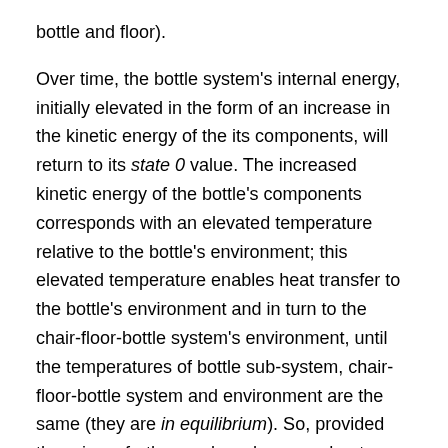bottle and floor).
Over time, the bottle system's internal energy, initially elevated in the form of an increase in the kinetic energy of the its components, will return to its state 0 value. The increased kinetic energy of the bottle's components corresponds with an elevated temperature relative to the bottle's environment; this elevated temperature enables heat transfer to the bottle's environment and in turn to the chair-floor-bottle system's environment, until the temperatures of bottle sub-system, chair-floor-bottle system and environment are the same (they are in equilibrium). So, provided there is no further work exchange or heat transfer, the chair-floor-bottle system will return to state 0, with a reference internal energy of 0 J. This is possible specifically because neither the bottle sub-